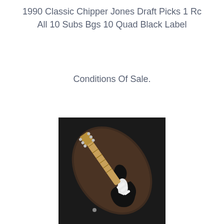1990 Classic Chipper Jones Draft Picks 1 Rc All 10 Subs Bgs 10 Quad Black Label
Conditions Of Sale.
[Figure (photo): Photo of a black Fender Stratocaster electric guitar with maple neck in a dark brown leather guitar case, set against a dark background.]